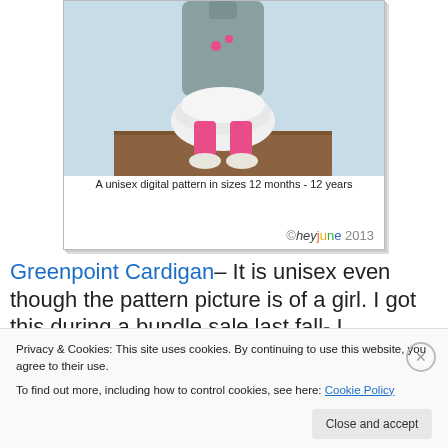[Figure (photo): Sewing pattern cover card showing a child wearing a grey cardigan jacket with a white ruffled skirt and pink leggings, standing on a wooden surface against a light blue background. Text reads 'A unisex digital pattern in sizes 12 months - 12 years' and '©heyjune 2013' logo.]
Greenpoint Cardigan– It is unisex even though the pattern picture is of a girl. I got this during a bundle sale last fall- I
Privacy & Cookies: This site uses cookies. By continuing to use this website, you agree to their use.
To find out more, including how to control cookies, see here: Cookie Policy
Close and accept